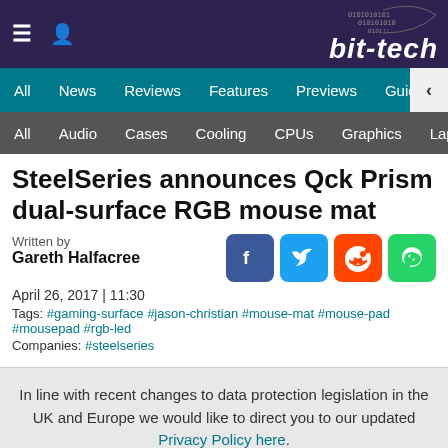bit-tech
All | News | Reviews | Features | Previews | Guides | B...
All | Audio | Cases | Cooling | CPUs | Graphics | Laptops | M...
SteelSeries announces Qck Prism dual-surface RGB mouse mat
Written by
Gareth Halfacree
April 26, 2017 | 11:30
Tags: #gaming-surface #jason-christian #mouse-mat #mouse-pad #mousepad #rgb-led
Companies: #steelseries
In line with recent changes to data protection legislation in the UK and Europe we would like to direct you to our updated Privacy Policy here.